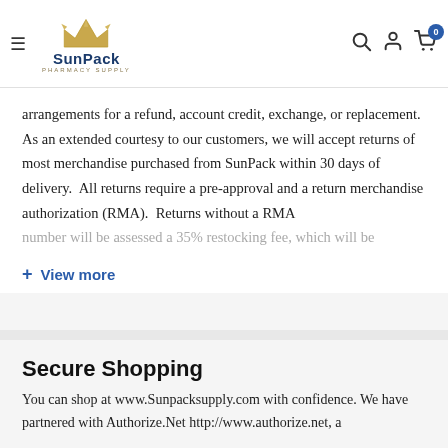SunPack Pharmacy Supply
arrangements for a refund, account credit, exchange, or replacement.  As an extended courtesy to our customers, we will accept returns of most merchandise purchased from SunPack within 30 days of delivery.  All returns require a pre-approval and a return merchandise authorization (RMA).  Returns without a RMA number will be assessed a 35% restocking fee, which will be
+ View more
Secure Shopping
You can shop at www.Sunpacksupply.com with confidence. We have partnered with Authorize.Net http://www.authorize.net, a